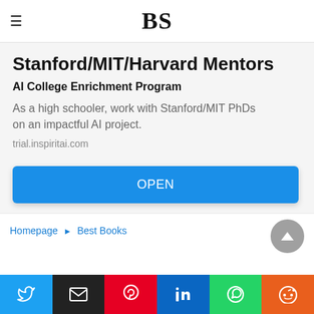BS
Stanford/MIT/Harvard Mentors
AI College Enrichment Program
As a high schooler, work with Stanford/MIT PhDs on an impactful AI project.
trial.inspiritai.com
OPEN
Homepage ▶ Best Books